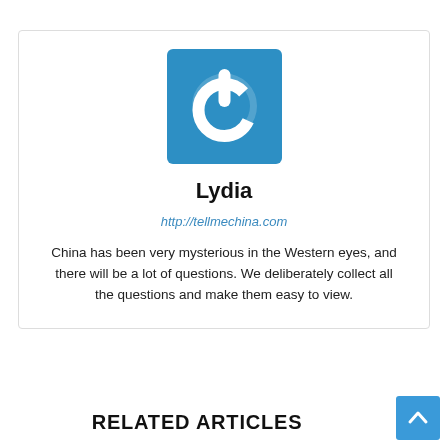[Figure (logo): Blue square logo with white power/on button icon inside, representing the Lydia/TellMeChina author profile]
Lydia
http://tellmechina.com
China has been very mysterious in the Western eyes, and there will be a lot of questions. We deliberately collect all the questions and make them easy to view.
RELATED ARTICLES